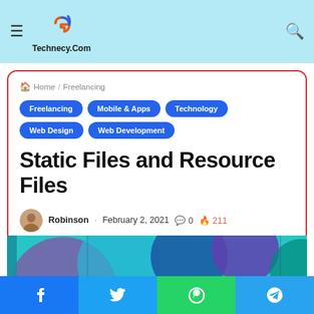Technecy.Com
Home / Freelancing
Freelancing | Mobile & Apps | Technology | Web Design | Web Development
Static Files and Resource Files
Robinson · February 2, 2021 · 0 comments · 211 · 2 minutes read
[Figure (illustration): Colorful abstract geometric shapes strip in teal, blue, purple tones]
[Figure (infographic): Social sharing bar with Facebook, Twitter, WhatsApp, and Telegram buttons]